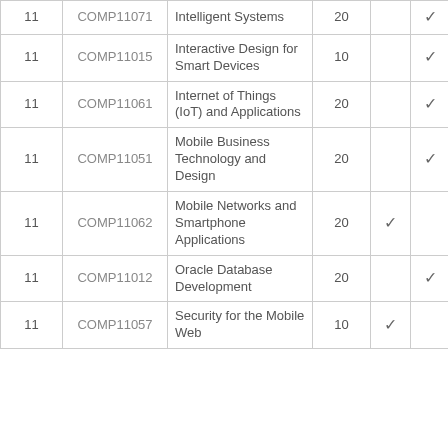| 11 | COMP11071 | Intelligent Systems | 20 |  | ✓ |  |
| 11 | COMP11015 | Interactive Design for Smart Devices | 10 |  | ✓ |  |
| 11 | COMP11061 | Internet of Things (IoT) and Applications | 20 |  | ✓ |  |
| 11 | COMP11051 | Mobile Business Technology and Design | 20 |  | ✓ |  |
| 11 | COMP11062 | Mobile Networks and Smartphone Applications | 20 | ✓ |  |  |
| 11 | COMP11012 | Oracle Database Development | 20 |  | ✓ |  |
| 11 | COMP11057 | Security for the Mobile Web | 10 | ✓ |  |  |